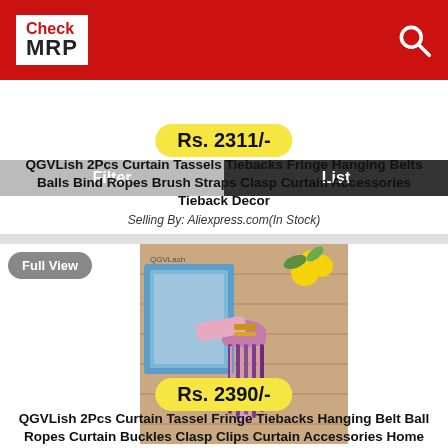[Figure (logo): Check MRP logo on red header background with search icon]
Filter | List
Rs. 2311/-
QGVLish 2Pcs Curtain Tassels Tiebacks Fringe Hanging Belts Balls Bind Ropes Brush Straps Clasp Curtain Accessories Tieback Decor
Selling By: Aliexpress.com(In Stock)
[Figure (photo): QGVLish curtain tassel tieback product photo showing purple and pink tassels with fringe on a wooden background with a blue picture frame and yellow flowers]
Rs. 2390/-
QGVLish 2Pcs Curtain Tassel Fringe Tiebacks Hanging Belt Ball Ropes Curtain Buckles Clasp Clips Curtain Accessories Home Decor